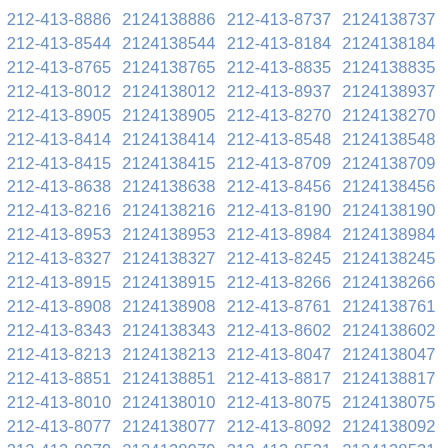212-413-8886 2124138886 212-413-8737 2124138737 212-413-8544 2124138544 212-413-8184 2124138184 212-413-8765 2124138765 212-413-8835 2124138835 212-413-8012 2124138012 212-413-8937 2124138937 212-413-8905 2124138905 212-413-8270 2124138270 212-413-8414 2124138414 212-413-8548 2124138548 212-413-8415 2124138415 212-413-8709 2124138709 212-413-8638 2124138638 212-413-8456 2124138456 212-413-8216 2124138216 212-413-8190 2124138190 212-413-8953 2124138953 212-413-8984 2124138984 212-413-8327 2124138327 212-413-8245 2124138245 212-413-8915 2124138915 212-413-8266 2124138266 212-413-8908 2124138908 212-413-8761 2124138761 212-413-8343 2124138343 212-413-8602 2124138602 212-413-8213 2124138213 212-413-8047 2124138047 212-413-8851 2124138851 212-413-8817 2124138817 212-413-8010 2124138010 212-413-8075 2124138075 212-413-8077 2124138077 212-413-8092 2124138092 212-413-8979 2124138979 212-413-8531 2124138531 212-413-8211 2124138211 212-413-8541 2124138541 212-413-8459 2124138459 212-413-8477 2124138477 212-413-8881 2124138881 212-413-8293 2124138293 212-413-8971 2124138971 212-413-8222 2124138222 212-413-8253 2124138253 212-413-8621 2124138621 212-413-8892 2124138892 212-413-8206 2124138206